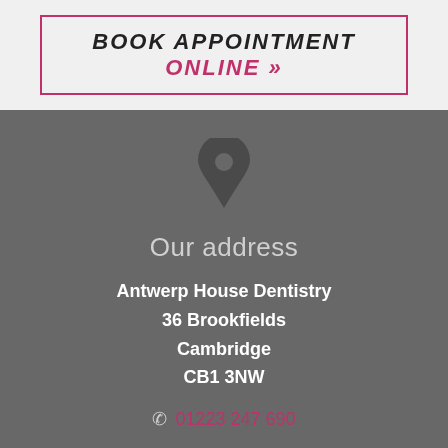BOOK APPOINTMENT ONLINE »
[Figure (illustration): Dark grey map pin / location marker icon centered on dark grey background]
Our address
Antwerp House Dentistry
36 Brookfields
Cambridge
CB1 3NW
☎ 01223 247 690
✉ reception@antwerphousedentistry.co.uk